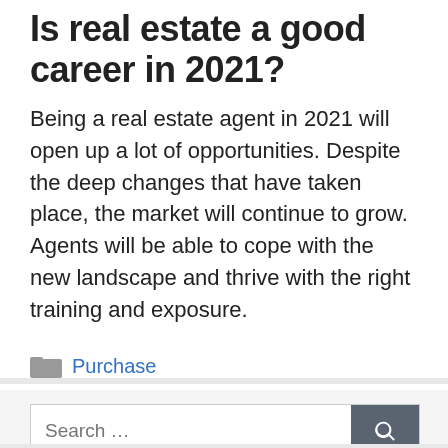Is real estate a good career in 2021?
Being a real estate agent in 2021 will open up a lot of opportunities. Despite the deep changes that have taken place, the market will continue to grow. Agents will be able to cope with the new landscape and thrive with the right training and exposure.
Purchase